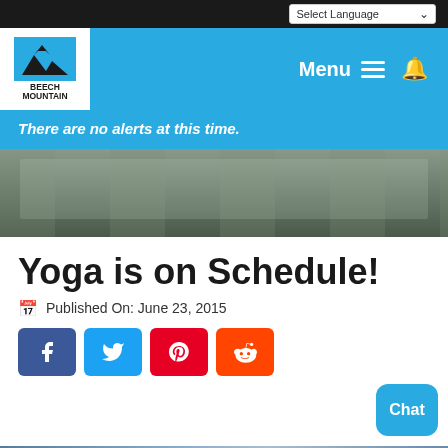Select Language
[Figure (screenshot): Beech Mountain website navigation bar with logo, Menu button and hamburger icon, and bell notification icon on blue background]
There are no alerts at this time.
[Figure (photo): Outdoor patio or deck with people seated under an awning, mountain view in background]
Yoga is on Schedule!
Published On: June 23, 2015
[Figure (infographic): Social share buttons: Facebook (blue), Twitter (blue), Pinterest (red), Reddit (orange)]
[Figure (screenshot): Partial image strip showing sky/mountain background, with Chat button overlay]
Call | Weather | Trail Report | Webcams | Events